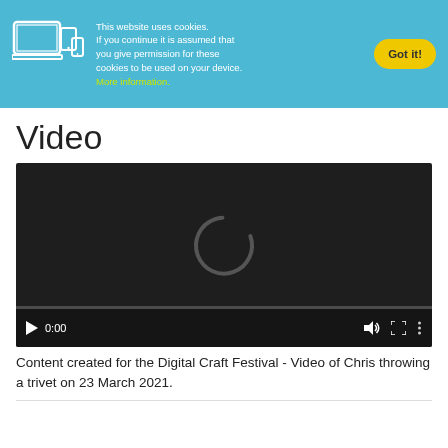This website uses cookies. If you continue it is assumed that you give permission for these cookies to be used on your device. More information.
[Figure (screenshot): Video player showing a dark loading screen with a circular loading spinner (C shape) in the center. Controls at bottom show play button, timestamp 0:00, volume icon, fullscreen icon, and more options icon. A progress bar is at the very bottom.]
Video
Content created for the Digital Craft Festival - Video of Chris throwing a trivet on 23 March 2021.